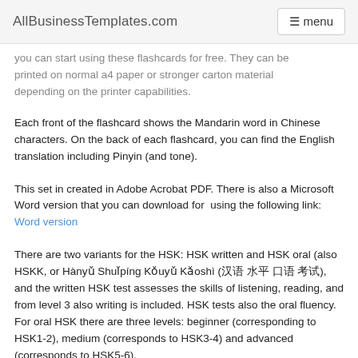AllBusinessTemplates.com   menu
you can start using these flashcards for free. They can be printed on normal a4 paper or stronger carton material depending on the printer capabilities.
Each front of the flashcard shows the Mandarin word in Chinese characters. On the back of each flashcard, you can find the English translation including Pinyin (and tone).
This set in created in Adobe Acrobat PDF. There is also a Microsoft Word version that you can download for  using the following link: Word version
There are two variants for the HSK: HSK written and HSK oral (also HSKK, or Hànyǔ Shuǐpíng Kǒuyǔ Kǎoshì (汉语 水平 口语 考试), and the written HSK test assesses the skills of listening, reading, and from level 3 also writing is included. HSK tests also the oral fluency. For oral HSK there are three levels: beginner (corresponding to HSK1-2), medium (corresponds to HSK3-4) and advanced (corresponds to HSK5-6).
Unlike TOEFL there are separate tests for each level. Another difference is that you are passing the tests if your score is